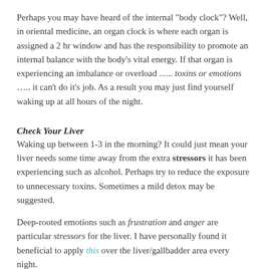Perhaps you may have heard of the internal "body clock"?  Well, in oriental medicine, an organ clock is where each organ is assigned a 2 hr window and has the responsibility to promote an internal balance with the body's vital energy.  If that organ is experiencing an imbalance or overload ….. toxins or emotions ….. it can't do it's job.  As a result you may just find yourself waking up at all hours of the night.
Check Your Liver
Waking up between 1-3 in the morning?  It could just mean your liver needs some time away from the extra stressors it has been experiencing such as alcohol.  Perhaps try to reduce the exposure to unnecessary toxins.  Sometimes a mild detox may be suggested.
Deep-rooted emotions such as frustration and anger are particular stressors for the liver.  I have personally found it beneficial to apply this over the liver/gallbadder area every night.